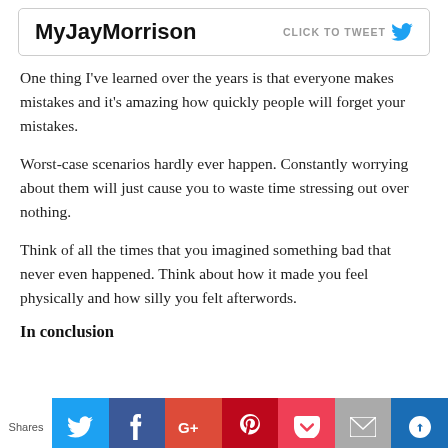[Figure (other): Tweet box with 'MyJayMorrison' username and 'CLICK TO TWEET' button with Twitter bird icon]
One thing I've learned over the years is that everyone makes mistakes and it's amazing how quickly people will forget your mistakes.
Worst-case scenarios hardly ever happen. Constantly worrying about them will just cause you to waste time stressing out over nothing.
Think of all the times that you imagined something bad that never even happened. Think about how it made you feel physically and how silly you felt afterwords.
In conclusion
[Figure (other): Social share bar with Twitter, Facebook, Google+, Pinterest, Pocket, email, and another blue button icons. 'Shares' label on the left.]